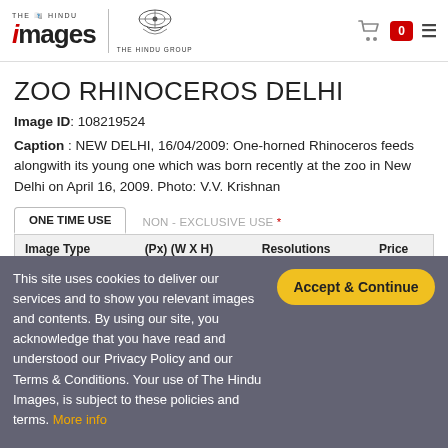THE HINDU IMAGES | THE HINDU GROUP
ZOO RHINOCEROS DELHI
Image ID: 108219524
Caption : NEW DELHI, 16/04/2009: One-horned Rhinoceros feeds alongwith its young one which was born recently at the zoo in New Delhi on April 16, 2009. Photo: V.V. Krishnan
| Image Type | (Px) (W X H) | Resolutions | Price |
| --- | --- | --- | --- |
This site uses cookies to deliver our services and to show you relevant images and contents. By using our site, you acknowledge that you have read and understood our Privacy Policy and our Terms & Conditions. Your use of The Hindu Images, is subject to these policies and terms. More info